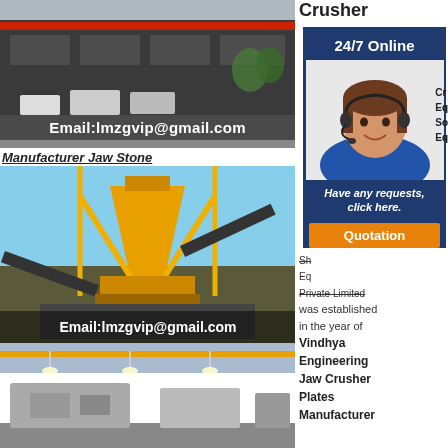[Figure (photo): Industrial factory building exterior with heavy machinery and trucks, red accent stripe on building]
Email:lmzgvip@gmail.com
Manufacturer Jaw Stone
[Figure (photo): Yellow cone crusher machine at a stone crushing plant under blue sky]
Email:lmzgvip@gmail.com
[Figure (photo): Interior of industrial factory with machinery and overhead lighting]
Crusher
[Figure (infographic): 24/7 Online support widget with female agent wearing headset and request/quotation buttons]
Private Limited was established in the year of
Vindhya Engineering Jaw Crusher Plates Manufacturer